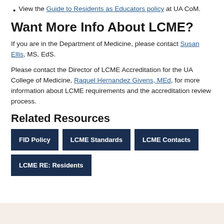View the Guide to Residents as Educators policy at UA CoM.
Want More Info About LCME?
If you are in the Department of Medicine, please contact Susan Ellis, MS, EdS.
Please contact the Director of LCME Accreditation for the UA College of Medicine, Raquel Hernandez Givens, MEd, for more information about LCME requirements and the accreditation review process.
Related Resources
FID Policy | LCME Standards | LCME Contacts | LCME RE: Residents